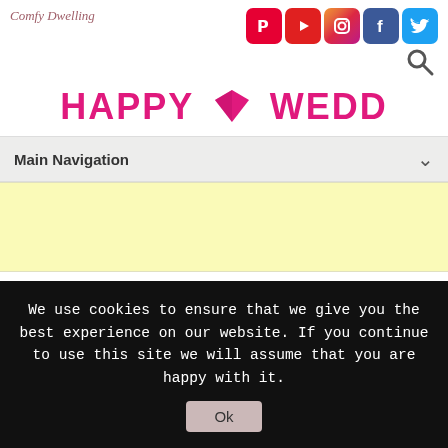Comfy Dwelling
[Figure (logo): Social media icons: Pinterest, YouTube, Instagram, Facebook, Twitter]
[Figure (logo): Search icon (magnifying glass)]
HAPPY ♦ WEDD
Main Navigation
[Figure (other): Yellow advertisement block]
33 Trendy Floral
We use cookies to ensure that we give you the best experience on our website. If you continue to use this site we will assume that you are happy with it.